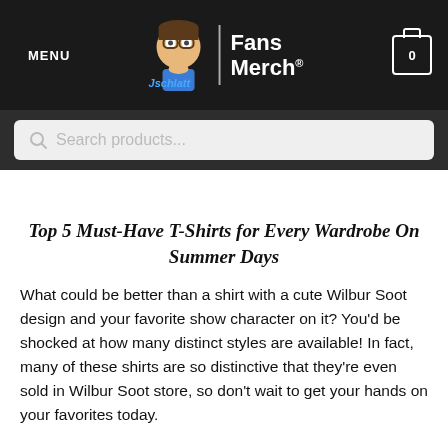MENU | Jschlatt Fans Merch® | 0
Search products...
Top 5 Must-Have T-Shirts for Every Wardrobe On Summer Days
What could be better than a shirt with a cute Wilbur Soot design and your favorite show character on it? You'd be shocked at how many distinct styles are available! In fact, many of these shirts are so distinctive that they're even sold in Wilbur Soot store, so don't wait to get your hands on your favorites today.